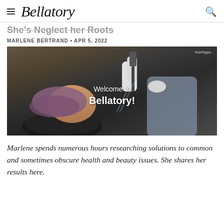Bellatory
She's Neglect her Roots
MARLENE BERTRAND • APR 5, 2022
[Figure (photo): A hairdresser wearing gloves washing a client's hair at a salon sink, with a stone wall in the background. Overlay text reads 'Welcome to Bellatory!']
Marlene spends numerous hours researching solutions to common and sometimes obscure health and beauty issues. She shares her results here.